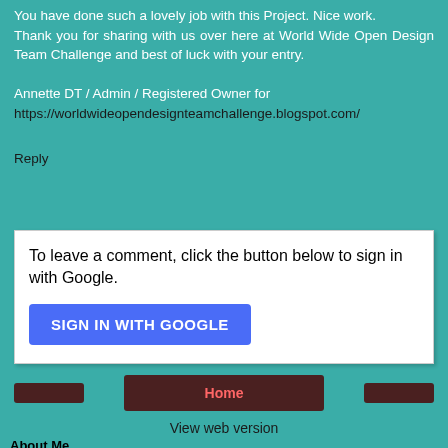You have done such a lovely job with this Project. Nice work.
Thank you for sharing with us over here at World Wide Open Design Team Challenge and best of luck with your entry.

Annette DT / Admin / Registered Owner for https://worldwideopendesignteamchallenge.blogspot.com/
Reply
To leave a comment, click the button below to sign in with Google.
SIGN IN WITH GOOGLE
Home
View web version
About Me